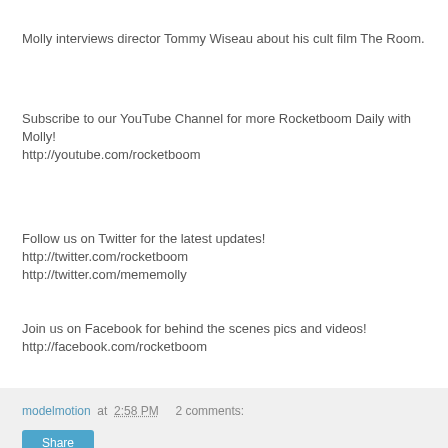Molly interviews director Tommy Wiseau about his cult film The Room.
Subscribe to our YouTube Channel for more Rocketboom Daily with Molly!
http://youtube.com/rocketboom
Follow us on Twitter for the latest updates!
http://twitter.com/rocketboom
http://twitter.com/mememolly
Join us on Facebook for behind the scenes pics and videos!
http://facebook.com/rocketboom
modelmotion at 2:58 PM   2 comments:
Meet the Cast of First Day - AlloyTV